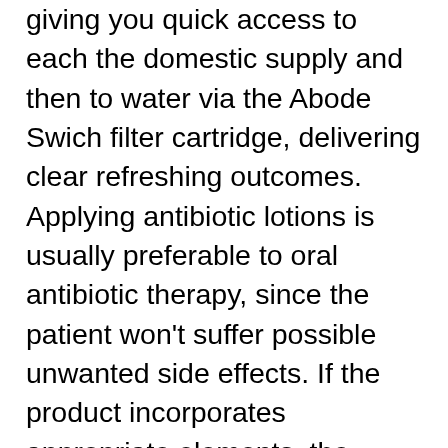giving you quick access to each the domestic supply and then to water via the Abode Swich filter cartridge, delivering clear refreshing outcomes. Applying antibiotic lotions is usually preferable to oral antibiotic therapy, since the patient won't suffer possible unwanted side effects. If the product incorporates appropriate elements, the pimples will recede in three months or so. Buzzle guides you to the best products to treat zits and obtain clear, easy pores and skin. When the Swich system is turned to the filter setting, you'll experience a barely lower circulate of water. In the event you miss a dose of Swich 200 Pill, take it as soon as possible. Acne skincare merchandise could cause extreme allergic reactions in patients who are delicate to some components. Blake brings 30 years of sales and gross sales management experience to the Swich staff. Avoid consuming alcohol while taking Swich 200 Pill as it could